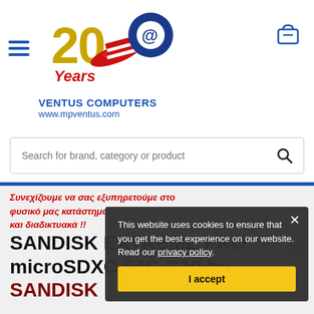[Figure (logo): Ventus Computers 20 Years logo with stylized '20' in gold and red/blue swirl graphic]
VENTUS COMPUTERS
www.mpventus.com
Search for brand, category or product
Συνεχίζουμε να σας εξυπηρετούμε στο φυσικό μας κατάστημα και διαδικτυακά !!
This website uses cookies to ensure that you get the best experience on our website. Read our privacy policy.
I accept
SANDISK EXTREME PRO microSDXC 64G C10 by SANDISK